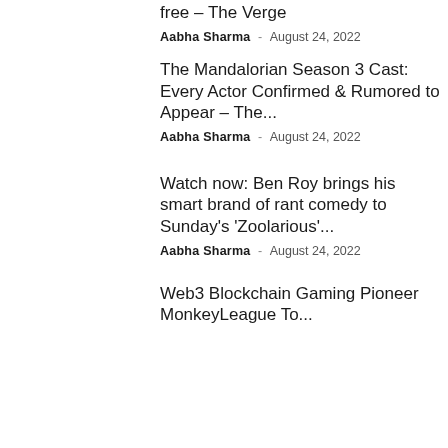free – The Verge
Aabha Sharma - August 24, 2022
The Mandalorian Season 3 Cast: Every Actor Confirmed & Rumored to Appear – The...
Aabha Sharma - August 24, 2022
Watch now: Ben Roy brings his smart brand of rant comedy to Sunday's 'Zoolarious'...
Aabha Sharma - August 24, 2022
Web3 Blockchain Gaming Pioneer MonkeyLeague To...